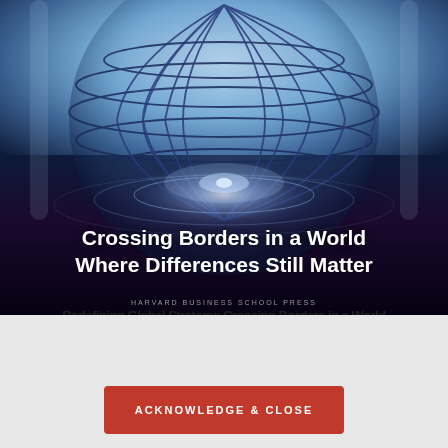[Figure (illustration): Book cover image for 'Crossing Borders in a World Where Differences Still Matter' published by Harvard Business School Press. Shows a dark blue background with a stylized wireframe globe at the top, glowing light effects in the middle, and white bold title text at the bottom.]
Crossing Borders in a World Where Differences Still Matter
HARVARD BUSINESS SCHOOL PRESS
WE HAVE UPDATED OUR PRIVACY POLICY. CLICK HERE TO READ OUR FULL POLICY.
ACKNOWLEDGE & CLOSE